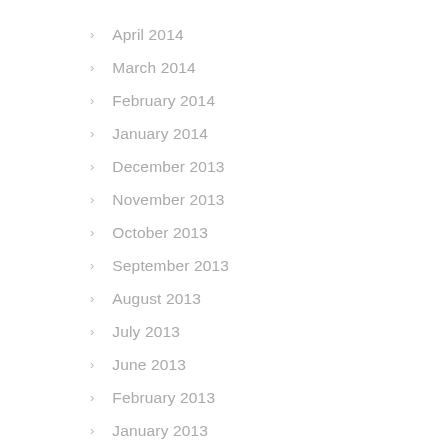April 2014
March 2014
February 2014
January 2014
December 2013
November 2013
October 2013
September 2013
August 2013
July 2013
June 2013
February 2013
January 2013